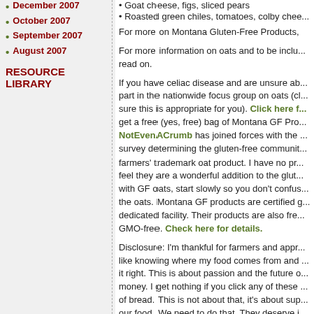December 2007
October 2007
September 2007
August 2007
RESOURCE LIBRARY
• Goat cheese, figs, sliced pears
• Roasted green chiles, tomatoes, colby chee...
For more on Montana Gluten-Free Products,
For more information on oats and to be inclu... read on.
If you have celiac disease and are unsure ab... part in the nationwide focus group on oats (c... sure this is appropriate for you). Click here f... get a free (yes, free) bag of Montana GF Pro... NotEvenACrumb has joined forces with the ... survey determining the gluten-free communit... farmers' trademark oat product. I have no pr... feel they are a wonderful addition to the glut... with GF oats, start slowly so you don't confu... the oats. Montana GF products are certified g... dedicated facility. Their products are also fre... GMO-free. Check here for details.
Disclosure: I'm thankful for farmers and appr... like knowing where my food comes from and ... it right. This is about passion and the future o... money. I get nothing if you click any of these ... of bread. This is not about that, it's about sup... our food. We need to do that. They deserve i...
If you want to try a loaf of toasted oat bread,... my new favorite bread mix. It's wonderful. Se... prepared to be flirted with if your windows are
Peace, love and grilled cheese sandwiches o...